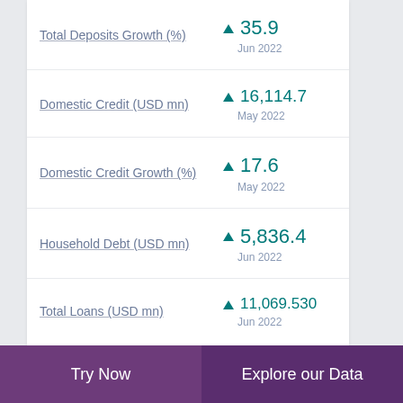Total Deposits Growth (%) ▲ 35.9 Jun 2022
Domestic Credit (USD mn) ▲ 16,114.7 May 2022
Domestic Credit Growth (%) ▲ 17.6 May 2022
Household Debt (USD mn) ▲ 5,836.4 Jun 2022
Total Loans (USD mn) ▲ 11,069.530 Jun 2022
Try Now | Explore our Data